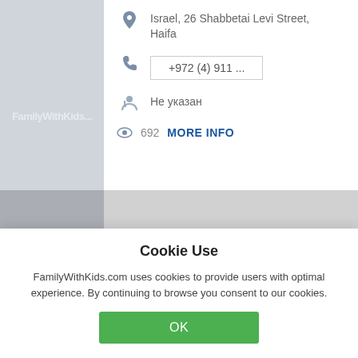[Figure (screenshot): Left thumbnail panel with FamilyWithKids.com watermark on gray background]
Israel, 26 Shabbetai Levi Street, Haifa
+972 (4) 911 ...
Не указан
692  MORE INFO
The Zinoo Curiosity and Science Centre
Latvia, Riga, Dzirnavu iela 67
Cookie Use
FamilyWithKids.com uses cookies to provide users with optimal experience. By continuing to browse you consent to our cookies.
OK